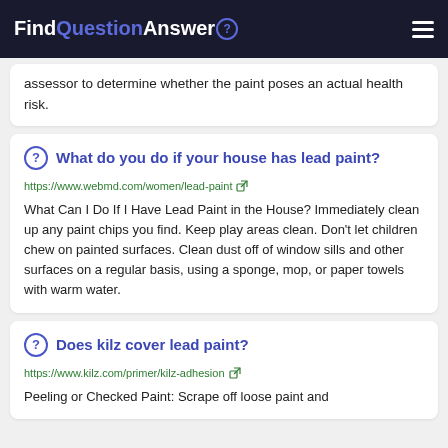FindQuestionAnswer
assessor to determine whether the paint poses an actual health risk.
What do you do if your house has lead paint?
https://www.webmd.com/women/lead-paint
What Can I Do If I Have Lead Paint in the House? Immediately clean up any paint chips you find. Keep play areas clean. Don't let children chew on painted surfaces. Clean dust off of window sills and other surfaces on a regular basis, using a sponge, mop, or paper towels with warm water.
Does kilz cover lead paint?
https://www.kilz.com/primer/kilz-adhesion
Peeling or Checked Paint: Scrape off loose paint and